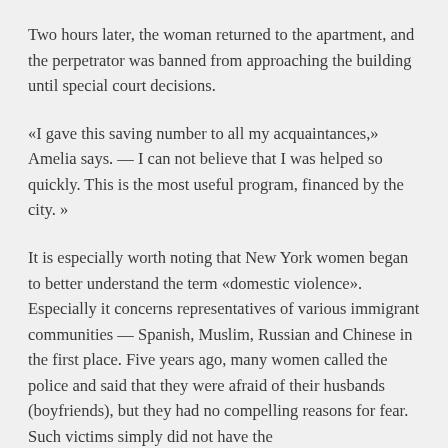Two hours later, the woman returned to the apartment, and the perpetrator was banned from approaching the building until special court decisions.
«I gave this saving number to all my acquaintances,» Amelia says. — I can not believe that I was helped so quickly. This is the most useful program, financed by the city. »
It is especially worth noting that New York women began to better understand the term «domestic violence». Especially it concerns representatives of various immigrant communities — Spanish, Muslim, Russian and Chinese in the first place. Five years ago, many women called the police and said that they were afraid of their husbands (boyfriends), but they had no compelling reasons for fear. Such victims simply did not have the